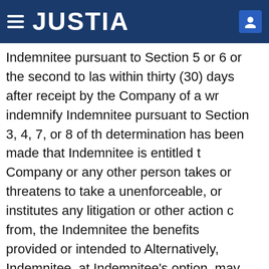JUSTIA
Indemnitee pursuant to Section 5 or 6 or the second to last within thirty (30) days after receipt by the Company of a written request to indemnify Indemnitee pursuant to Section 3, 4, 7, or 8 of the determination has been made that Indemnitee is entitled to Company or any other person takes or threatens to take a unenforceable, or institutes any litigation or other action from, the Indemnitee the benefits provided or intended to Alternatively, Indemnitee, at Indemnitee's option, may seek single arbitrator pursuant to the Commercial Arbitration R Indemnitee must commence such Proceeding seeking an a hundred and eighty (180) days following the date on which Proceeding pursuant to this Section 14(a); provided, howe respect of a Proceeding brought by Indemnitee to enforce Agreement. The Company will not oppose Indemnitee's rig arbitration. The Company, may similarly, at the Company's of a dispute with Indemnitee.